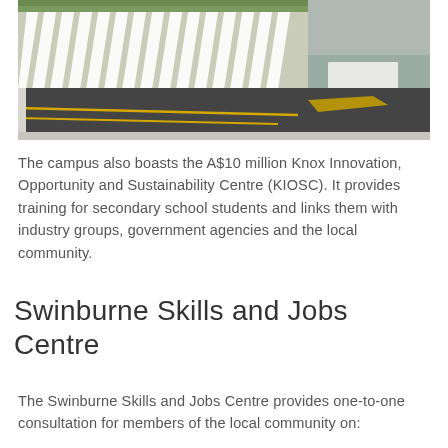[Figure (photo): Exterior view of a building with a modern facade of diagonal white fins/louvers above a parking area with yellow road markings on dark asphalt.]
The campus also boasts the A$10 million Knox Innovation, Opportunity and Sustainability Centre (KIOSC). It provides training for secondary school students and links them with industry groups, government agencies and the local community.
Swinburne Skills and Jobs Centre
The Swinburne Skills and Jobs Centre provides one-to-one consultation for members of the local community on: